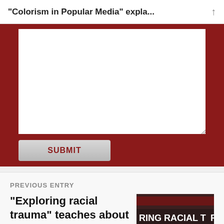“Colorism in Popular Media” expla...
[Figure (screenshot): Comment text area input box with white background inside dark red form container]
SUBMIT
PREVIOUS ENTRY
“Exploring racial trauma” teaches about Black mental health
[Figure (photo): Book cover showing text: RING RACIAL TR / LACK MENTAL H / Accountab / gie Cartwright, Dominique]